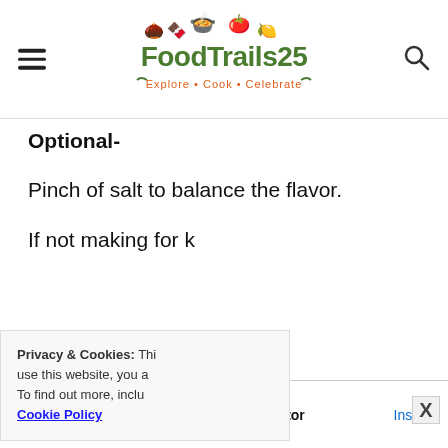FoodTrails25 — Explore • Cook • Celebrate
Optional-
Pinch of salt to balance the flavor.
If not making for k
Privacy & Cookies: Thi use this website, you a To find out more, inclu Cookie Policy
Substitute for Mascarpone Cheese- Cream Chees
[Figure (screenshot): Ad banner for BitLife - Life Simulator app with Install button]